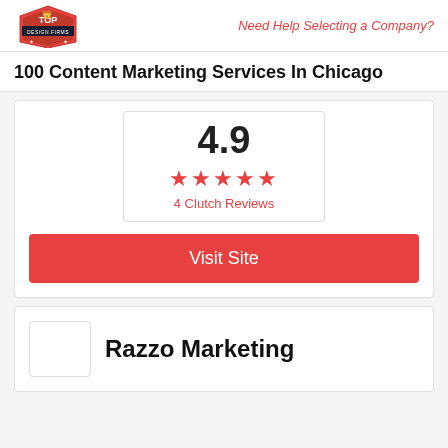Need Help Selecting a Company?
100 Content Marketing Services In Chicago
[Figure (infographic): Rating box showing 4.9 score with 5 red stars and '4 Clutch Reviews' label]
Visit Site
Razzo Marketing